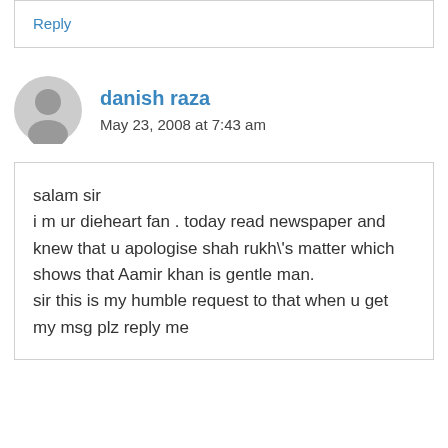Reply
danish raza
May 23, 2008 at 7:43 am
salam sir
i m ur dieheart fan . today read newspaper and knew that u apologise shah rukh\'s matter which shows that Aamir khan is gentle man.
sir this is my humble request to that when u get my msg plz reply me